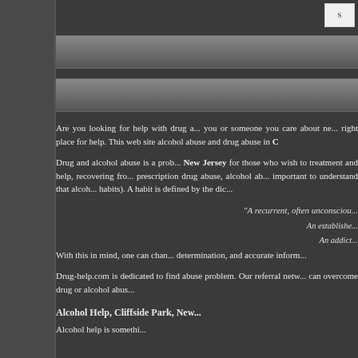Are you looking for help with drug abuse? If you or someone you care about needs help, you are at the right place for help. This web site can help you find alcohol abuse and drug abuse in C...
Drug and alcohol abuse is a problem. New Jersey for those who wish to seek treatment and help, recovering from prescription drug abuse, alcohol abuse... it is important to understand that alcohol abuse (as habits). A habit is defined by the dic...
"A recurrent, often unconsciou...
An established... An addict...
With this in mind, one can chan... determination, and accurate inform...
Drug-help.com is dedicated to find... abuse problem. Our referral netw... can overcome drug or alcohol abus...
Alcohol Help, Cliffside Park, New...